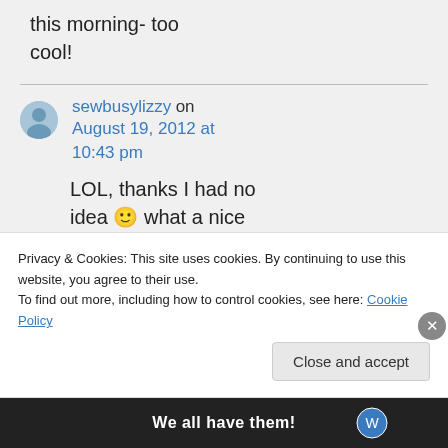this morning- too cool!
sewbusylizzy on August 19, 2012 at 10:43 pm
LOL, thanks I had no idea 🙂 what a nice way to finish the
Privacy & Cookies: This site uses cookies. By continuing to use this website, you agree to their use. To find out more, including how to control cookies, see here: Cookie Policy
Close and accept